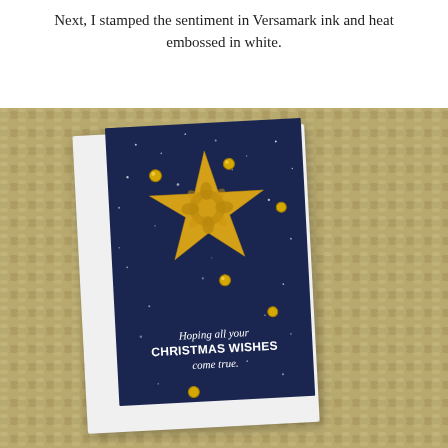Next, I stamped the sentiment in Versamark ink and heat embossed in white.
[Figure (photo): A photograph of a handmade Christmas card angled slightly, showing a navy blue card with a gold foil decorative star in the center, white speckles suggesting snow or stars, gold sequins scattered on the card, and the sentiment 'Hoping all your CHRISTMAS WISHES come true.' embossed in white at the bottom. The card is mounted on a white base and set against a textured golden-tan woven background.]